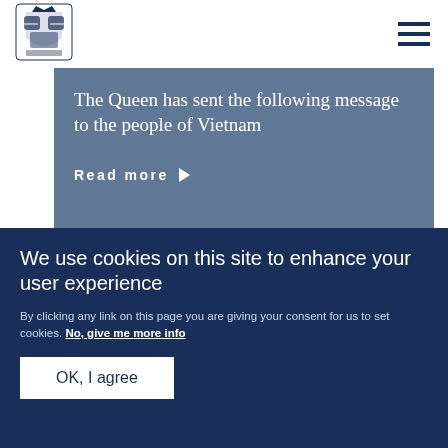[Figure (logo): UK Royal coat of arms logo in blue]
The Queen has sent the following message to the people of Vietnam
Read more ▶
PRESS RELEASE   18 SEPTEMBER 2018
The Queen's message of
We use cookies on this site to enhance your user experience
By clicking any link on this page you are giving your consent for us to set cookies. No, give me more info
OK, I agree